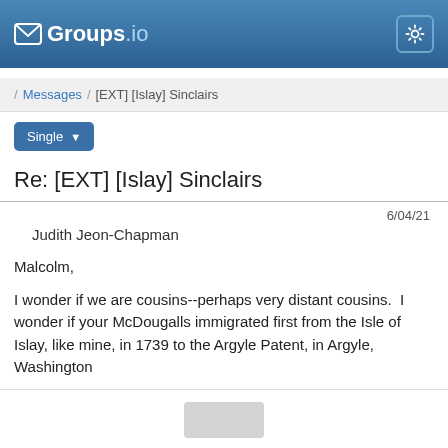Groups.io
/ Messages / [EXT] [Islay] Sinclairs
Single
Re: [EXT] [Islay] Sinclairs
6/04/21
Judith Jeon-Chapman
Malcolm,
I wonder if we are cousins--perhaps very distant cousins.  I wonder if your McDougalls immigrated first from the Isle of Islay, like mine, in 1739 to the Argyle Patent, in Argyle, Washington